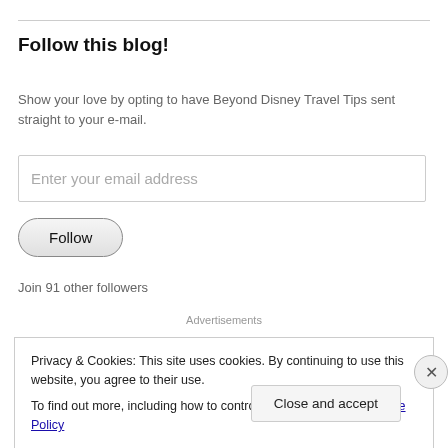Follow this blog!
Show your love by opting to have Beyond Disney Travel Tips sent straight to your e-mail.
Enter your email address
Follow
Join 91 other followers
Advertisements
Privacy & Cookies: This site uses cookies. By continuing to use this website, you agree to their use.
To find out more, including how to control cookies, see here: Cookie Policy
Close and accept